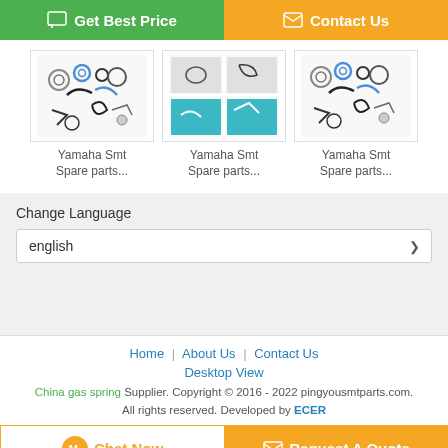[Figure (screenshot): Green 'Get Best Price' button with chat icon on left]
[Figure (screenshot): Orange 'Contact Us' button with mail icon on right]
[Figure (photo): Yamaha SMT spare parts product thumbnail 1 - various small mechanical parts on white background]
Yamaha Smt Spare parts...
[Figure (photo): Yamaha SMT spare parts product thumbnail 2 - grid of small parts photos]
Yamaha Smt Spare parts...
[Figure (photo): Yamaha SMT spare parts product thumbnail 3 - various small mechanical parts on white background]
Yamaha Smt Spare parts...
Change Language
english
Home | About Us | Contact Us
Desktop View
China gas spring Supplier. Copyright © 2016 - 2022 pingyousmtparts.com. All rights reserved. Developed by ECER
[Figure (screenshot): Orange 'Chat Now' button with chat icon]
[Figure (screenshot): Orange 'Request A Quote' button with mail icon]